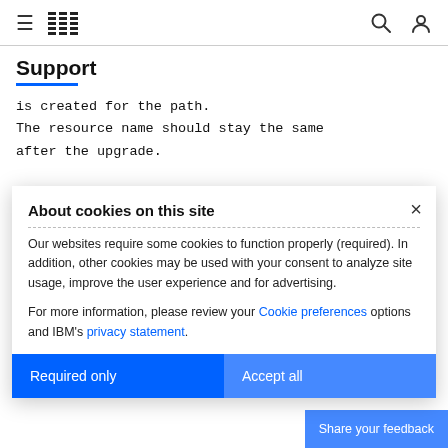IBM Support
Support
is created for the path.
The resource name should stay the same after the upgrade.
CORRECTION FOR APAR MA39836 :
About cookies on this site
Our websites require some cookies to function properly (required). In addition, other cookies may be used with your consent to analyze site usage, improve the user experience and for advertising.
For more information, please review your Cookie preferences options and IBM's privacy statement.
CIRCUMVENTION FOR APAR MA39836 :
None.
Required only
Accept all
Share your feedback